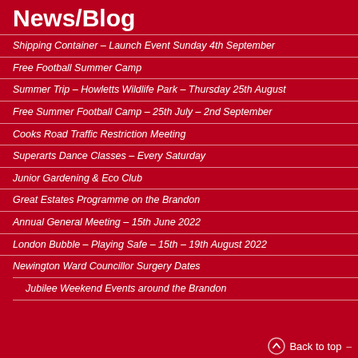News/Blog
Shipping Container – Launch Event Sunday 4th September
Free Football Summer Camp
Summer Trip – Howletts Wildlife Park – Thursday 25th August
Free Summer Football Camp – 25th July – 2nd September
Cooks Road Traffic Restriction Meeting
Superarts Dance Classes – Every Saturday
Junior Gardening & Eco Club
Great Estates Programme on the Brandon
Annual General Meeting – 15th June 2022
London Bubble – Playing Safe – 15th – 19th August 2022
Newington Ward Councillor Surgery Dates
Jubilee Weekend Events around the Brandon
Back to top